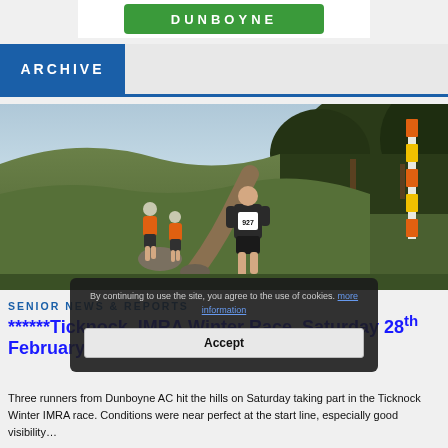[Figure (logo): Dunboyne AC logo with green rounded rectangle background and white text]
ARCHIVE
[Figure (photo): Runners on a hillside trail at Ticknock, trees visible in background, lead runner wearing bib 927, orange/yellow flag marker visible on right]
SENIOR NEWS & REPORTS
******Ticknock. IMRA Winter Race, Saturday 28th February******
Three runners from Dunboyne AC hit the hills on Saturday taking part in the Ticknock Winter IMRA race. Conditions were near perfect at the start line, especially good visibility…
[Figure (screenshot): Cookie consent overlay popup with dark background, text about continuing to use the site and agreeing to use of cookies, with a More information link and an Accept button]